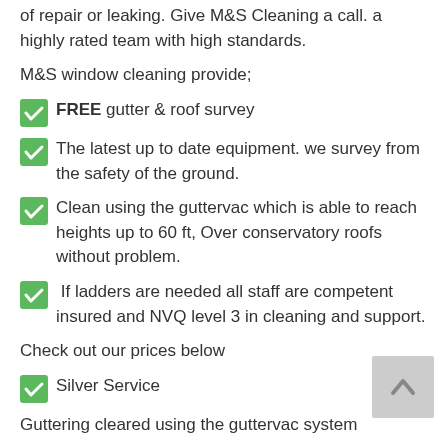of repair or leaking. Give M&S Cleaning a call. a highly rated team with high standards.
M&S window cleaning provide;
FREE gutter & roof survey
The latest up to date equipment. we survey from the safety of the ground.
Clean using the guttervac which is able to reach heights up to 60 ft, Over conservatory roofs without problem.
If ladders are needed all staff are competent insured and NVQ level 3 in cleaning and support.
Check out our prices below
Silver Service
Guttering cleared using the guttervac system